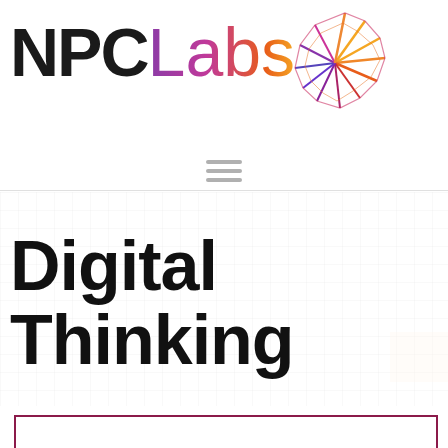[Figure (logo): NPC Labs logo with colorful star/asterisk graphic. 'NPC' in bold black, 'Labs' in gradient purple-to-orange, with a multi-pointed star shape in red, orange, yellow, and purple above and to the right of the text.]
[Figure (other): Hamburger menu icon: three horizontal gray lines stacked vertically, centered on the page.]
Digital Thinking
[Figure (other): Partial dark red/maroon bordered rectangle visible at the bottom of the page, open at the bottom.]